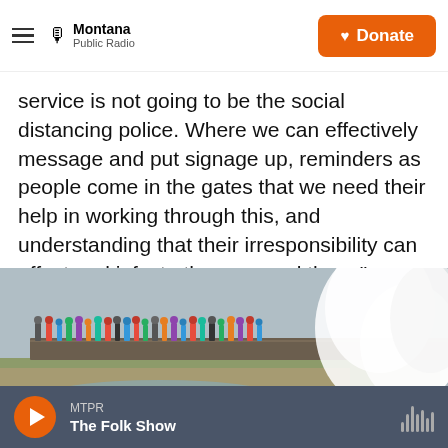Montana Public Radio | Donate
service is not going to be the social distancing police. Where we can effectively message and put signage up, reminders as people come in the gates that we need their help in working through this, and understanding that their irresponsibility can affect and infect others around them."
[Figure (photo): Crowd of people standing on a boardwalk near a steaming geyser at Yellowstone National Park]
MTPR The Folk Show